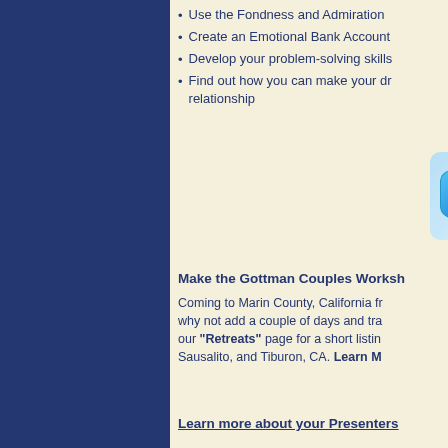Use the Fondness and Admiration
Create an Emotional Bank Account
Develop your problem-solving skills
Find out how you can make your dream relationship
[Figure (other): Zoom video call icon button with italic bold text reading 'Now Marr' (partially visible)]
Make the Gottman Couples Workshop
Coming to Marin County, California fr... why not add a couple of days and tra... our "Retreats" page for a short listing Sausalito, and Tiburon, CA. Learn M...
Learn more about your Presenters